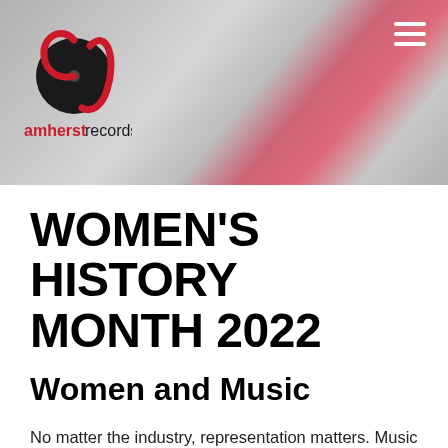[Figure (logo): Amherst Records logo: a stylized red letter 'a' with a vinyl record incorporated, above the text 'amherst records' in red and black]
WOMEN'S HISTORY MONTH 2022
Women and Music
No matter the industry, representation matters. Music has the ability to inspire us because we connect with music on an emotional level. When we hear a song with lyrics that resonate with our own life experiences, we feel seen…